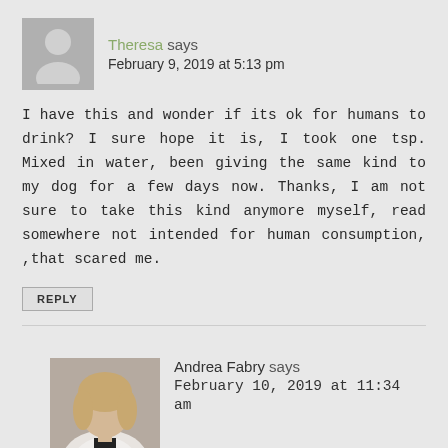[Figure (illustration): Gray placeholder avatar icon of a person silhouette for user Theresa]
Theresa says
February 9, 2019 at 5:13 pm
I have this and wonder if its ok for humans to drink? I sure hope it is, I took one tsp. Mixed in water, been giving the same kind to my dog for a few days now. Thanks, I am not sure to take this kind anymore myself, read somewhere not intended for human consumption, ,that scared me.
REPLY
[Figure (photo): Photo of Andrea Fabry, a woman with blonde hair wearing a white blazer]
Andrea Fabry says
February 10, 2019 at 11:34 am